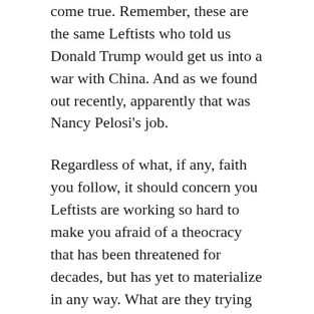come true. Remember, these are the same Leftists who told us Donald Trump would get us into a war with China. And as we found out recently, apparently that was Nancy Pelosi's job.
Regardless of what, if any, faith you follow, it should concern you Leftists are working so hard to make you afraid of a theocracy that has been threatened for decades, but has yet to materialize in any way. What are they trying to hide or divert our attentions from, exactly?
Oh, yeah. Leftists suck at governing.
If your track record was as much of a flaming